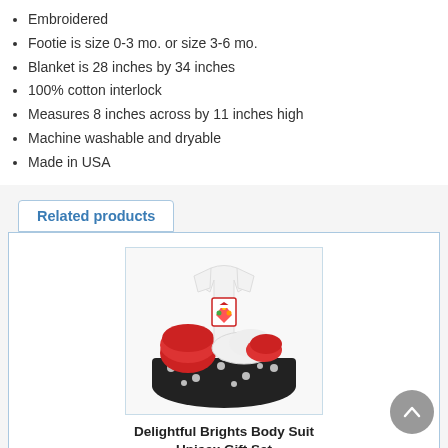Embroidered
Footie is size 0-3 mo. or size 3-6 mo.
Blanket is 28 inches by 34 inches
100% cotton interlock
Measures 8 inches across by 11 inches high
Machine washable and dryable
Made in USA
Related products
[Figure (photo): Baby gift set with white onesie featuring embroidered kite design, red blanket, and white booties arranged in black polka dot basket with ribbon]
Delightful Brights Body Suit Unisex Gift Set
$42.00